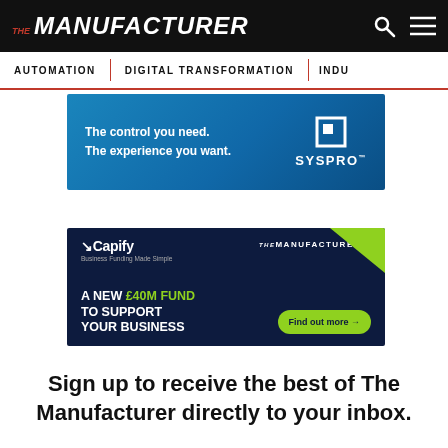THE MANUFACTURER
AUTOMATION | DIGITAL TRANSFORMATION | INDU...
[Figure (advertisement): SYSPRO ad: 'The control you need. The experience you want.' with SYSPRO logo on blue background]
[Figure (advertisement): Capify ad: 'A NEW £40M FUND TO SUPPORT YOUR BUSINESS' with 'Find out more' button, The Manufacturer branding, dark navy background]
Sign up to receive the best of The Manufacturer directly to your inbox.